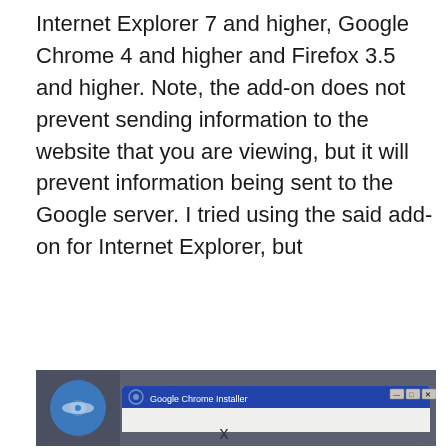Internet Explorer 7 and higher, Google Chrome 4 and higher and Firefox 3.5 and higher. Note, the add-on does not prevent sending information to the website that you are viewing, but it will prevent information being sent to the Google server. I tried using the said add-on for Internet Explorer, but
[Figure (screenshot): Screenshot of a Google Chrome Installer window on a Windows desktop with taskbar]
x